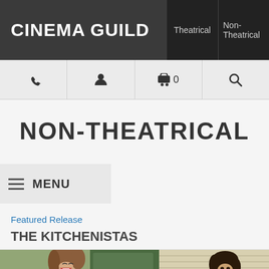CINEMA GUILD | Theatrical | Non-Theatrical
NON-THEATRICAL
MENU
Featured Release
THE KITCHENISTAS
[Figure (photo): Two photos of people laughing and smiling outdoors]